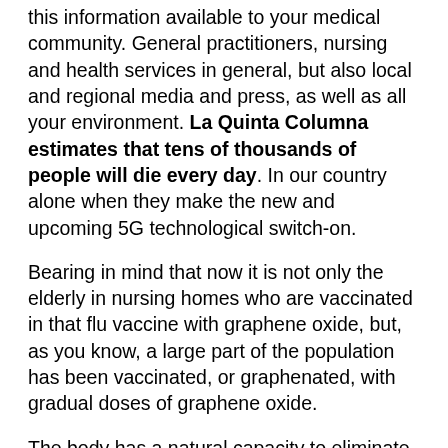this information available to your medical community. General practitioners, nursing and health services in general, but also local and regional media and press, as well as all your environment. La Quinta Columna estimates that tens of thousands of people will die every day. In our country alone when they make the new and upcoming 5G technological switch-on.
Bearing in mind that now it is not only the elderly in nursing homes who are vaccinated in that flu vaccine with graphene oxide, but, as you know, a large part of the population has been vaccinated, or graphenated, with gradual doses of graphene oxide.
The body has a natural capacity to eliminate this toxicant, which is why we propose you up to a third dose per year for all the years to keep the graphene in your bodies.
We have each and every one of the proofs of what has been manifested here. Meanwhile justice is trying to act, people will continue to be pushed off a bottomless cliff. If you are watching this audiovisual material, you will